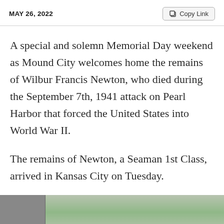MAY 26, 2022
A special and solemn Memorial Day weekend as Mound City welcomes home the remains of Wilbur Francis Newton, who died during the September 7th, 1941 attack on Pearl Harbor that forced the United States into World War II.
The remains of Newton, a Seaman 1st Class, arrived in Kansas City on Tuesday.
[Figure (photo): Partial view of a photo showing an indoor/outdoor scene, partially cropped at bottom of page]